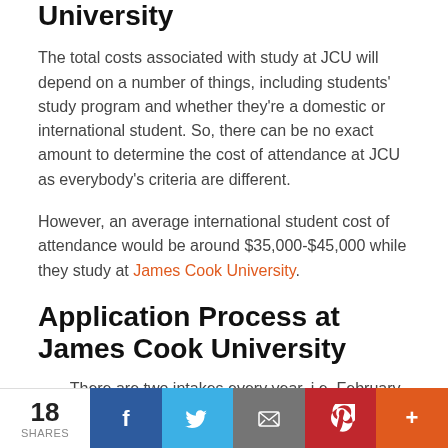University
The total costs associated with study at JCU will depend on a number of things, including students' study program and whether they're a domestic or international student. So, there can be no exact amount to determine the cost of attendance at JCU as everybody's criteria are different.
However, an average international student cost of attendance would be around $35,000-$45,000 while they study at James Cook University.
Application Process at James Cook University
There are two intakes every year. i.e. February and July
18 SHARES | Facebook | Twitter | Email | Pinterest | More